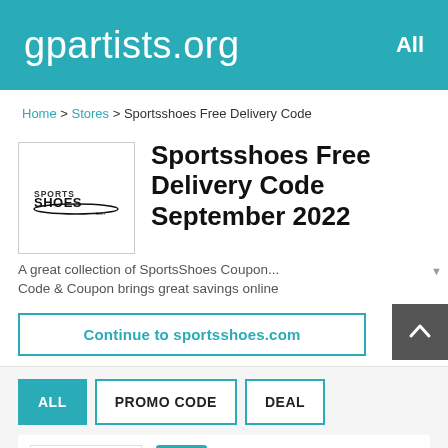gpartists.org   All
Home > Stores > Sportsshoes Free Delivery Code
Sportsshoes Free Delivery Code September 2022
A great collection of SportsShoes Coupon... Code & Coupon brings great savings online
Continue to sportsshoes.com
ALL
PROMO CODE
DEAL
Deal   ✓ Verified